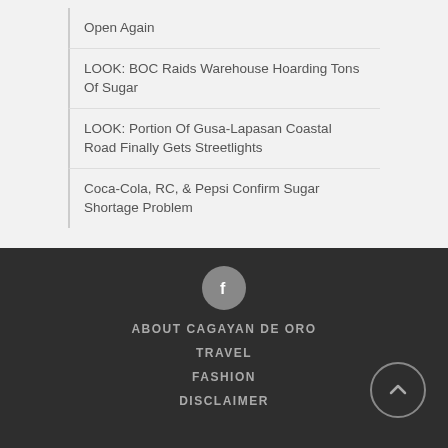Open Again
LOOK: BOC Raids Warehouse Hoarding Tons Of Sugar
LOOK: Portion Of Gusa-Lapasan Coastal Road Finally Gets Streetlights
Coca-Cola, RC, & Pepsi Confirm Sugar Shortage Problem
[Figure (illustration): Facebook icon in a grey circle]
ABOUT CAGAYAN DE ORO
TRAVEL
FASHION
DISCLAIMER
[Figure (illustration): Scroll up arrow button in a circle]